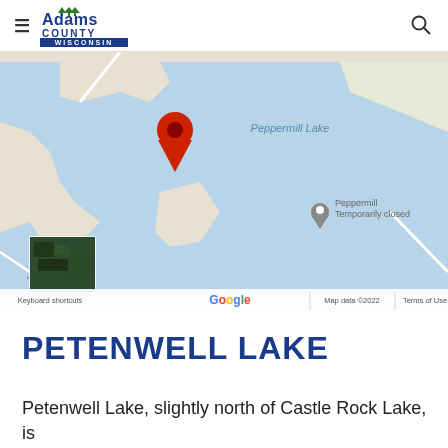Adams County Wisconsin — navigation header with logo and search icon
[Figure (map): Google Map showing Peppermill Lake area with a red location pin marker. The map shows a large blue water body labeled 'Peppermill Lake', a 'Peppermill Temporarily closed' POI marker, roads including one labeled '140 C', a satellite thumbnail inset in the lower left, and Google branding with 'Keyboard shortcuts | Map data ©2022 | Terms of Use' at the bottom.]
PETENWELL LAKE
Petenwell Lake, slightly north of Castle Rock Lake, is a part of the Wisconsin River Flowage. It is...